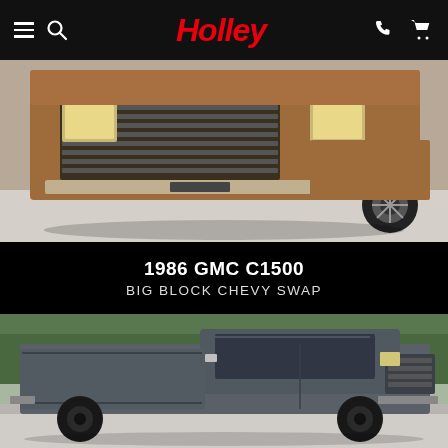Holley
[Figure (photo): Front close-up of a bronze/copper 1986 GMC C1500 truck showing the grille, headlights, bumper, and custom wheels on a concrete surface]
1986 GMC C1500
BIG BLOCK CHEVY SWAP
[Figure (photo): Side view of a matte dark gray 1986 GMC C1500 single-cab pickup truck with black wheels, parked on a road with trees in the background]